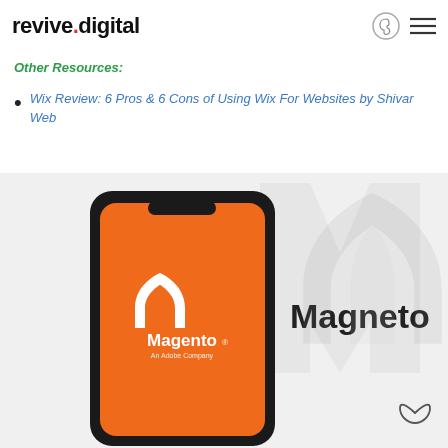revive.digital
Other Resources:
Wix Review: 6 Pros & 6 Cons of Using Wix For Websites by Shivar Web
[Figure (screenshot): Magento logo on orange smartphone screen, with large 'Magneto' text and Magento icon in light gray background on right side. Drop icon bottom right.]